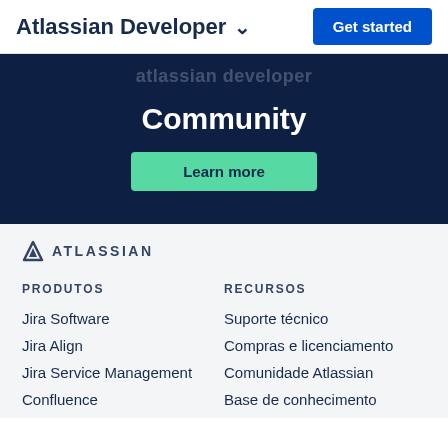Atlassian Developer ∨  |  Get started
Community
Learn more
[Figure (logo): Atlassian logo with triangle icon and uppercase ATLASSIAN text]
PRODUTOS
RECURSOS
Jira Software
Jira Align
Jira Service Management
Confluence
Suporte técnico
Compras e licenciamento
Comunidade Atlassian
Base de conhecimento